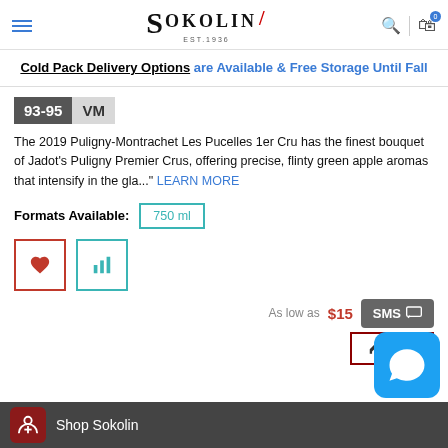[Figure (logo): Sokolin wine shop logo with EST. 1936 and wine glass icon]
Cold Pack Delivery Options are Available & Free Storage Until Fall
[Figure (other): Score badge: 93-95 VM]
The 2019 Puligny-Montrachet Les Pucelles 1er Cru has the finest bouquet of Jadot's Puligny Premier Crus, offering precise, flinty green apple aromas that intensify in the gla..." LEARN MORE
Formats Available: 750 ml
[Figure (other): Favorite (heart) button and chart/compare button]
As low as $15
SMS
View
[Figure (other): Blue chat bubble overlay button]
Shop Sokolin